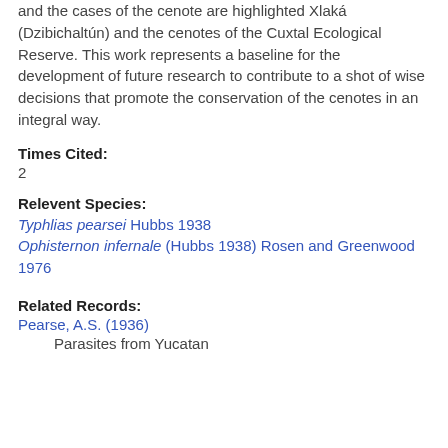and the cases of the cenote are highlighted Xlaká (Dzibichaltún) and the cenotes of the Cuxtal Ecological Reserve. This work represents a baseline for the development of future research to contribute to a shot of wise decisions that promote the conservation of the cenotes in an integral way.
Times Cited:
2
Relevent Species:
Typhlias pearsei Hubbs 1938
Ophisternon infernale (Hubbs 1938) Rosen and Greenwood 1976
Related Records:
Pearse, A.S. (1936)
Parasites from Yucatan